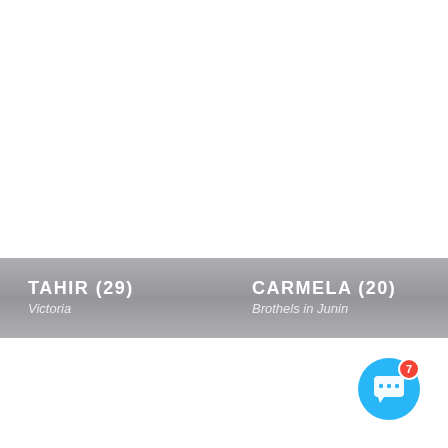TAHIR (29)
Victoria
CARMELA (20)
Brothels in Junin
[Figure (illustration): Chat bubble icon button with notification badge showing 7, on a cyan/blue circular background, positioned bottom right]